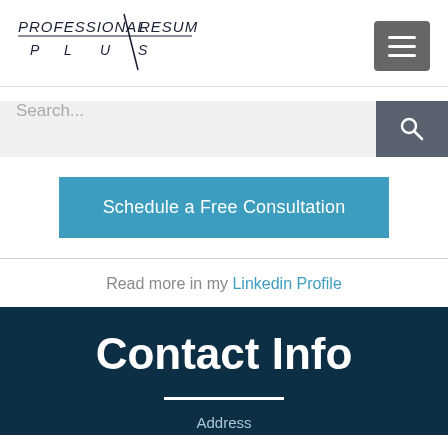[Figure (logo): Professional Resume Plus logo with diagonal slash and spaced lettering P L U S]
[Figure (other): Hamburger menu button (three horizontal lines) on grey background]
Search...
Schedule a Free Consultation
Read more in my Linkedin Profile
Contact Info
Address